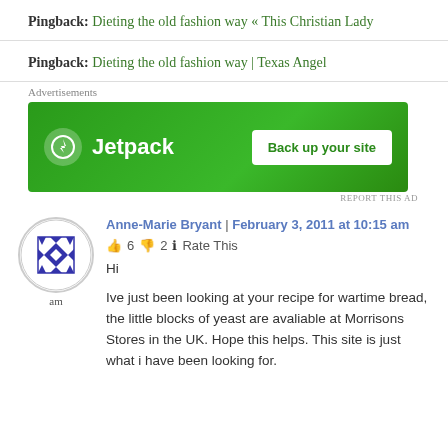Pingback: Dieting the old fashion way « This Christian Lady
Pingback: Dieting the old fashion way | Texas Angel
[Figure (other): Jetpack advertisement banner with green background, Jetpack logo with lightning bolt icon, and 'Back up your site' button]
[Figure (other): User avatar: circular geometric blue and white pattern]
Anne-Marie Bryant | February 3, 2011 at 10:15 am
👍 6 👎 2 ℹ Rate This
Hi
Ive just been looking at your recipe for wartime bread, the little blocks of yeast are avaliable at Morrisons Stores in the UK. Hope this helps. This site is just what i have been looking for.